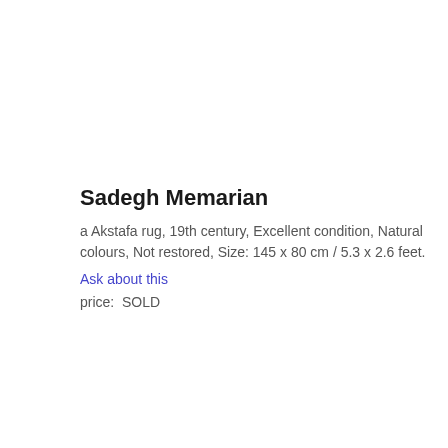Sadegh Memarian
a Akstafa rug, 19th century, Excellent condition, Natural colours, Not restored, Size: 145 x 80 cm / 5.3 x 2.6 feet.
Ask about this
price:  SOLD